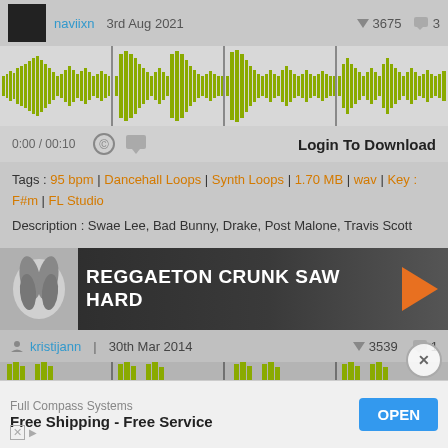naviixn | 3rd Aug 2021 | 3675 | 3
[Figure (other): Audio waveform visualization in yellow-green color on gray background]
0:00 / 00:10 | Login To Download
Tags : 95 bpm | Dancehall Loops | Synth Loops | 1.70 MB | wav | Key : F#m | FL Studio
Description : Swae Lee, Bad Bunny, Drake, Post Malone, Travis Scott
REGGAETON CRUNK SAW HARD
kristijann | 30th Mar 2014 | 3539 | 1
[Figure (other): Audio waveform visualization in yellow-green color on gray background]
Full Compass Systems - Free Shipping - Free Service - OPEN